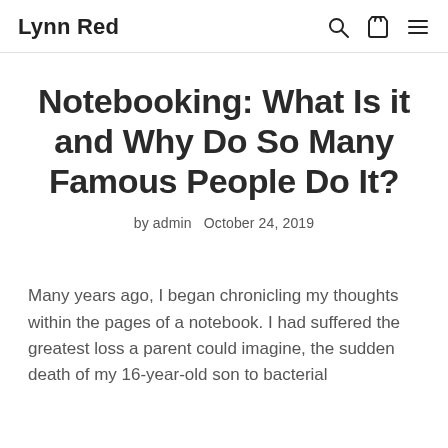Lynn Red
Notebooking: What Is it and Why Do So Many Famous People Do It?
by admin   October 24, 2019
Many years ago, I began chronicling my thoughts within the pages of a notebook. I had suffered the greatest loss a parent could imagine, the sudden death of my 16-year-old son to bacterial